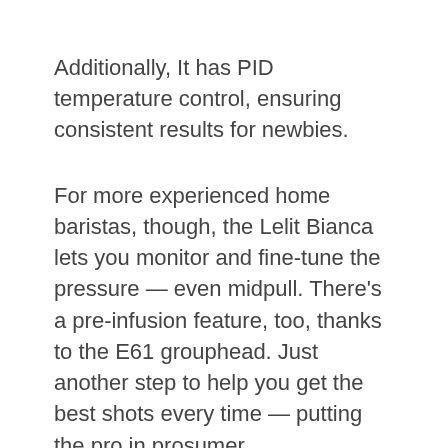Additionally, It has PID temperature control, ensuring consistent results for newbies.
For more experienced home baristas, though, the Lelit Bianca lets you monitor and fine-tune the pressure — even midpull. There's a pre-infusion feature, too, thanks to the E61 grouphead. Just another step to help you get the best shots every time — putting the pro in prosumer.
And since it's a rotary vane pump machine, it's practically silent.